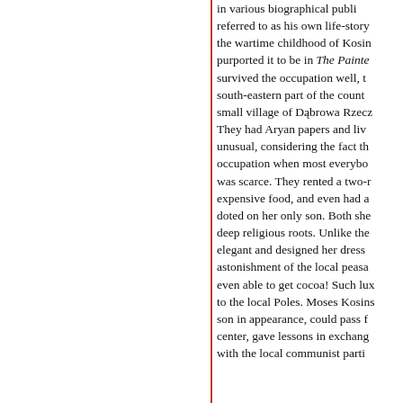in various biographical publications, referred to as his own life-story depicts the wartime childhood of Kosinski purported it to be in The Painted Bird, survived the occupation well, the south-eastern part of the country, small village of Dąbrowa Rzeczy... They had Aryan papers and lived — unusual, considering the fact that the occupation when most everybody was scarce. They rented a two-... expensive food, and even had a... doted on her only son. Both she... deep religious roots. Unlike the... elegant and designed her dress... astonishment of the local peas... even able to get cocoa! Such lux... to the local Poles. Moses Kosins... son in appearance, could pass f... center, gave lessons in exchang... with the local communist parti...